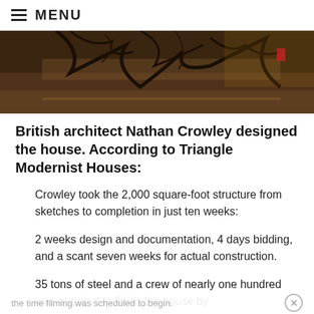MENU
[Figure (photo): Interior architectural photo showing tree branches against a modern interior space with wooden floors and furniture]
British architect Nathan Crowley designed the house. According to Triangle Modernist Houses:
Crowley took the 2,000 square-foot structure from sketches to completion in just ten weeks:
2 weeks design and documentation, 4 days bidding, and a scant seven weeks for actual construction.
35 tons of steel and a crew of nearly one hundred was required to finish the house by the time filming was scheduled to begin.